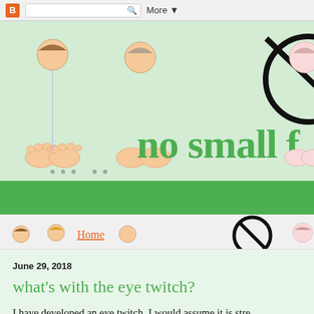[Figure (screenshot): Blogger navigation top bar with orange B logo, search box with magnifying glass icon, and More dropdown button]
[Figure (illustration): Blog header showing illustrated cartoon people sitting with feet showing, a no-symbol (circle with diagonal line) in black, and the blog title 'no small f' in large green serif text on a light green background]
[Figure (illustration): Green navigation bar]
[Figure (screenshot): Navigation strip with illustrated cartoon people, Home link in orange, and partial no-symbol circle on right side]
June 29, 2018
what's with the eye twitch?
I have developed an eye twitch.  I would assume it is stre
Ah, summer.  It used to mean no schedule.  Racing up to t is all about shuffling cars and trying not to forget to pick BEGGING) people to put their shit away.  And then there i